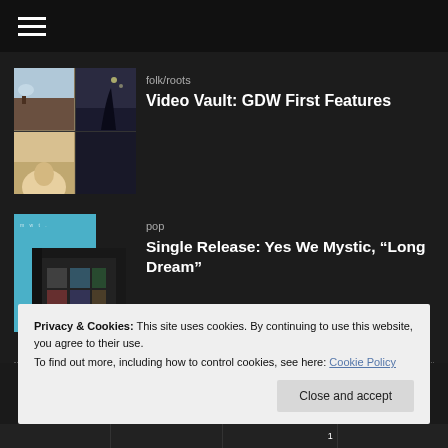[Figure (photo): 2x2 grid of album/music photos including landscape with figure on cliff, dark silhouette against sky, portrait, and dark image]
folk/roots
Video Vault: GDW First Features
[Figure (photo): Album cover with blue background and overlapping album art in dark tones for Yes We Mystic]
pop
Single Release: Yes We Mystic, “Long Dream”
Privacy & Cookies: This site uses cookies. By continuing to use this website, you agree to their use.
To find out more, including how to control cookies, see here: Cookie Policy
Close and accept